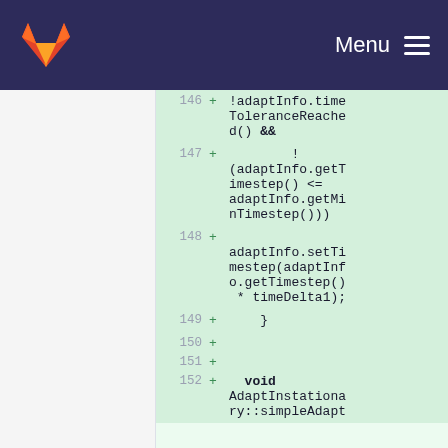Menu
[Figure (screenshot): GitLab code diff view showing lines 146-152 of a source file with added lines (green background). Lines show Java/C++ code including !adaptInfo.timeToleranceReached() && !(adaptInfo.getTimestep() <= adaptInfo.getMinTimestep()) and adaptInfo.setTimestep(adaptInfo.getTimestep() * timeDelta1); and void AdaptInstationary::simpleAdapt]
146 + !adaptInfo.timeToleranceReached() &&
147 +         !(adaptInfo.getTimestep() <= adaptInfo.getMinTimestep())
148 +     adaptInfo.setTimestep(adaptInfo.getTimestep() * timeDelta1);
149 +     }
150 +
151 +
152 +   void AdaptInstationary::simpleAdapt